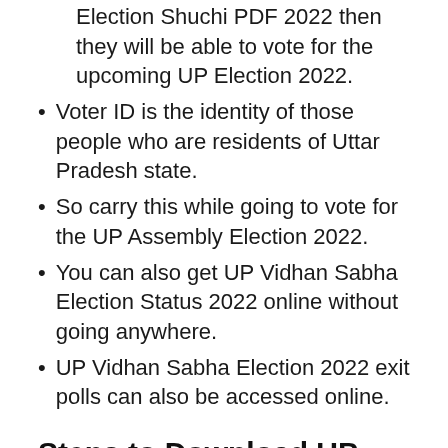Election Shuchi PDF 2022 then they will be able to vote for the upcoming UP Election 2022.
Voter ID is the identity of those people who are residents of Uttar Pradesh state.
So carry this while going to vote for the UP Assembly Election 2022.
You can also get UP Vidhan Sabha Election Status 2022 online without going anywhere.
UP Vidhan Sabha Election 2022 exit polls can also be accessed online.
Steps to Download UP Election 2022 District Wise Voter Shuchi
If you want to know your Name in UP